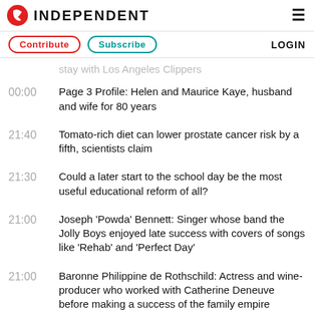INDEPENDENT
Contribute
Subscribe
LOGIN
stay with Los Angeles Clippers
00:00  Page 3 Profile: Helen and Maurice Kaye, husband and wife for 80 years
21:40  Tomato-rich diet can lower prostate cancer risk by a fifth, scientists claim
21:30  Could a later start to the school day be the most useful educational reform of all?
21:00  Joseph 'Powda' Bennett: Singer whose band the Jolly Boys enjoyed late success with covers of songs like 'Rehab' and 'Perfect Day'
21:00  Baronne Philippine de Rothschild: Actress and wine-producer who worked with Catherine Deneuve before making a success of the family empire